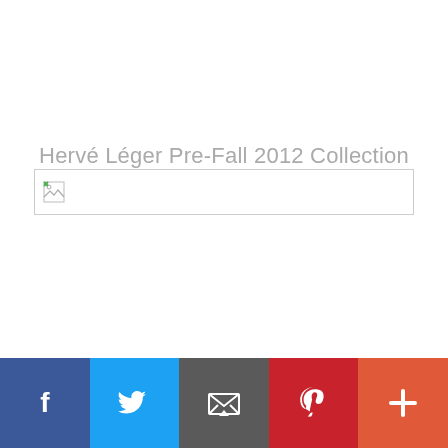Hervé Léger Pre-Fall 2012 Collection
[Figure (other): Broken/unloaded image placeholder with border]
[Figure (other): Social sharing bar with Facebook, Twitter, Email, Pinterest, and More buttons]